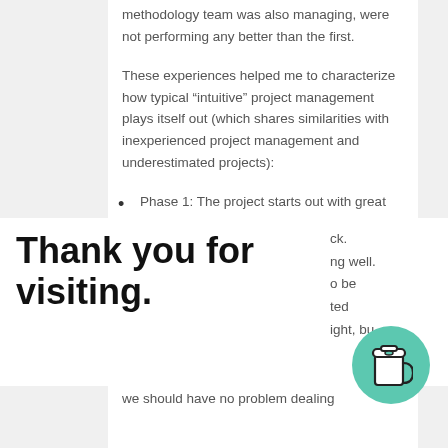methodology team was also managing, were not performing any better than the first.
These experiences helped me to characterize how typical “intuitive” project management plays itself out (which shares similarities with inexperienced project management and underestimated projects):
Phase 1: The project starts out with great press, good looking plans, and
ck.
ng well.
o be
ted
ight, bu
Thank you for visiting.
we should have no problem dealing